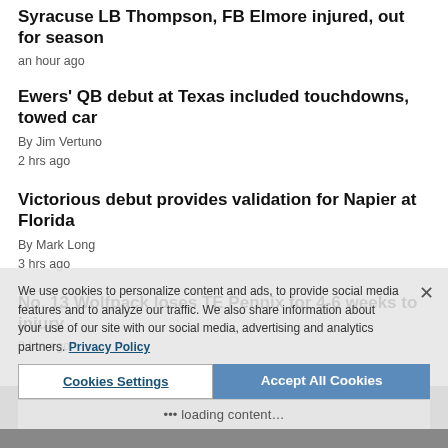Syracuse LB Thompson, FB Elmore injured, out for season
an hour ago
Ewers' QB debut at Texas included touchdowns, towed car
By Jim Vertuno
2 hrs ago
Victorious debut provides validation for Napier at Florida
By Mark Long
3 hrs ago
No. 13 Wolfpack loses TE Pennix for 4-6 weeks to injury
3 hrs ago
We use cookies to personalize content and ads, to provide social media features and to analyze our traffic. We also share information about your use of our site with our social media, advertising and analytics partners. Privacy Policy
Cookies Settings | Accept All Cookies
loading content...
[Figure (photo): Partial image at bottom of page, mostly obscured]